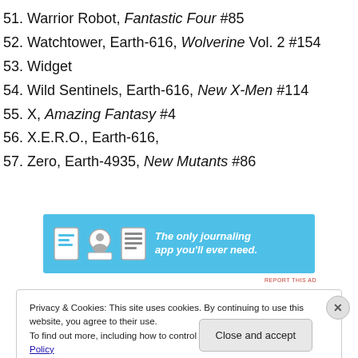51. Warrior Robot, Fantastic Four #85
52. Watchtower, Earth-616, Wolverine Vol. 2 #154
53. Widget
54. Wild Sentinels, Earth-616, New X-Men #114
55. X, Amazing Fantasy #4
56. X.E.R.O., Earth-616,
57. Zero, Earth-4935, New Mutants #86
[Figure (infographic): Advertisement banner with blue background showing journal app icons and text 'The only journaling app you'll ever need.']
Privacy & Cookies: This site uses cookies. By continuing to use this website, you agree to their use.
To find out more, including how to control cookies, see here: Cookie Policy